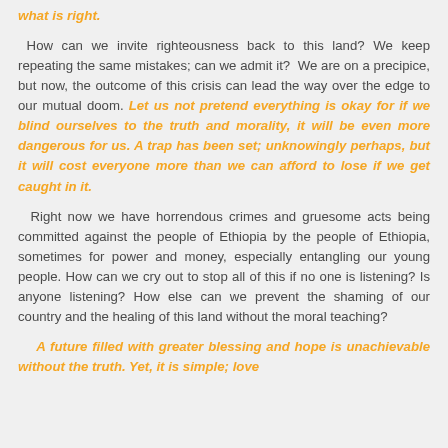what is right.
How can we invite righteousness back to this land? We keep repeating the same mistakes; can we admit it? We are on a precipice, but now, the outcome of this crisis can lead the way over the edge to our mutual doom. Let us not pretend everything is okay for if we blind ourselves to the truth and morality, it will be even more dangerous for us. A trap has been set; unknowingly perhaps, but it will cost everyone more than we can afford to lose if we get caught in it.
Right now we have horrendous crimes and gruesome acts being committed against the people of Ethiopia by the people of Ethiopia, sometimes for power and money, especially entangling our young people. How can we cry out to stop all of this if no one is listening? Is anyone listening? How else can we prevent the shaming of our country and the healing of this land without the moral teaching?
A future filled with greater blessing and hope is unachievable without the truth. Yet, it is simple; love